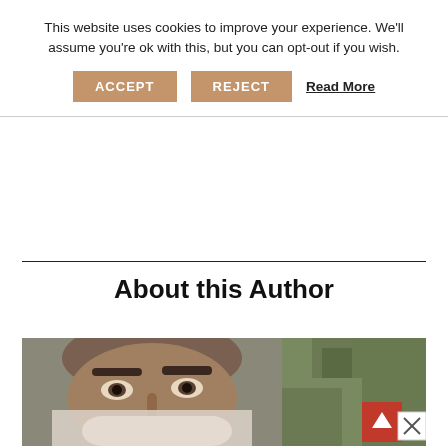This website uses cookies to improve your experience. We'll assume you're ok with this, but you can opt-out if you wish.
ACCEPT  REJECT  Read More
About this Author
[Figure (photo): Partial face of a man outdoors, with green foliage visible in the background. Lower portion of face is obscured/blurred. A red scroll-to-top button and a close (×) button are overlaid at the bottom right corner.]